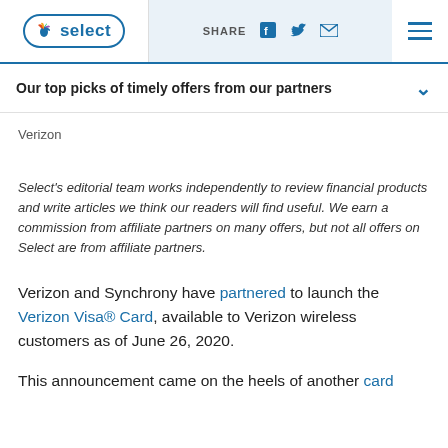NBC Select | SHARE [social icons] [menu]
Our top picks of timely offers from our partners
Verizon
Select's editorial team works independently to review financial products and write articles we think our readers will find useful. We earn a commission from affiliate partners on many offers, but not all offers on Select are from affiliate partners.
Verizon and Synchrony have partnered to launch the Verizon Visa® Card, available to Verizon wireless customers as of June 26, 2020.
This announcement came on the heels of another card